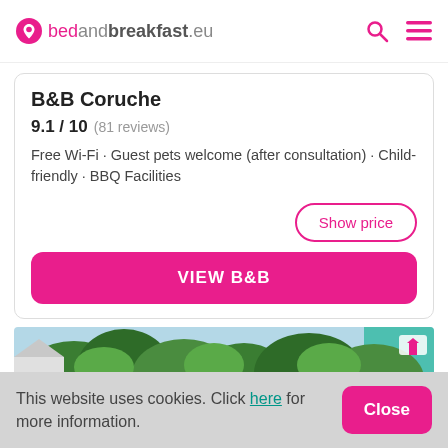bedandbreakfast.eu
B&B Coruche
9.1 / 10  (81 reviews)
Free Wi-Fi · Guest pets welcome (after consultation) · Child-friendly · BBQ Facilities
Show price
VIEW B&B
[Figure (photo): Outdoor photo showing green trees against a light blue sky]
This website uses cookies. Click here for more information.
Close